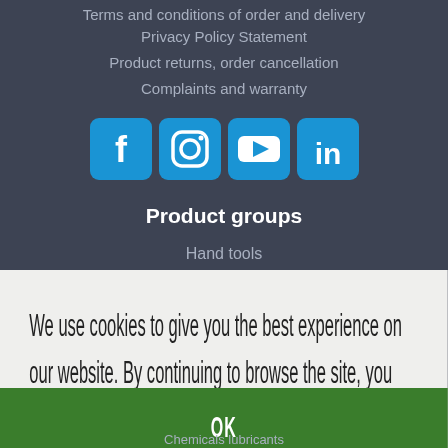Terms and conditions of order and delivery
Privacy Policy Statement
Product returns, order cancellation
Complaints and warranty
[Figure (other): Social media icons: Facebook, Instagram, YouTube, LinkedIn]
Product groups
Hand tools
We use cookies to give you the best experience on our website. By continuing to browse the site, you agree to our use of cookies.  Learn more
OK
Chemicals lubricants